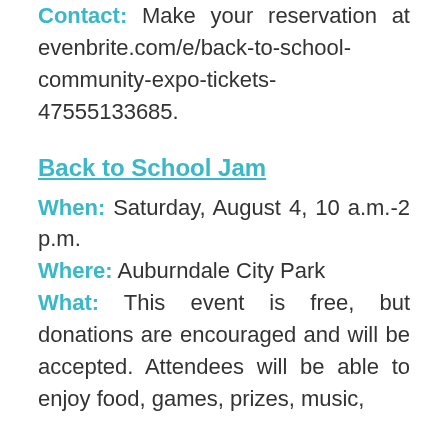Contact: Make your reservation at evenbrite.com/e/back-to-school-community-expo-tickets-47555133685.
Back to School Jam
When: Saturday, August 4, 10 a.m.-2 p.m.
Where: Auburndale City Park
What: This event is free, but donations are encouraged and will be accepted. Attendees will be able to enjoy food, games, prizes, music,